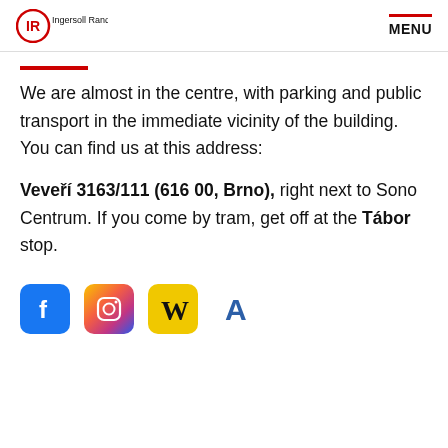Ingersoll Rand. MENU
We are almost in the centre, with parking and public transport in the immediate vicinity of the building. You can find us at this address:
Veveří 3163/111 (616 00, Brno), right next to Sono Centrum. If you come by tram, get off at the Tábor stop.
[Figure (infographic): Row of four social media icons: Facebook (blue), Instagram (purple/gradient), Wikipedia (yellow), Academia (white with blue letter A)]